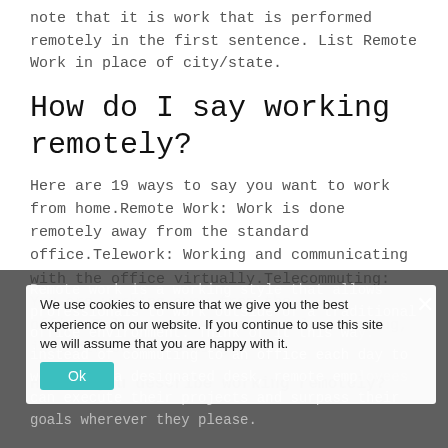note that it is work that is performed remotely in the first sentence. List Remote Work in place of city/state.
How do I say working remotely?
Here are 19 ways to say you want to work from home.Remote Work: Work is done remotely away from the standard office.Telework: Working and communicating with the office virtually.Telecommuting: You are working away from the office.Telecommute: Same as telecommuting, just different verbiage.
How do you describe working remotely?
Remote work is a working style that allows professionals to work outside of a traditional office environment. Think of it this way: instead of commuting to an office each day to work from a designated desk, remote employees can execute their projects and surpass their goals wherever they please.
We use cookies to ensure that we give you the best experience on our website. If you continue to use this site we will assume that you are happy with it.